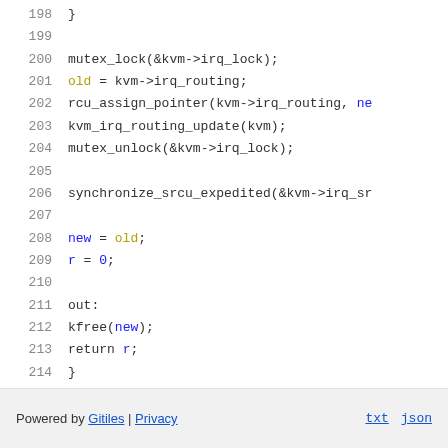[Figure (screenshot): Source code viewer showing lines 198-214 of a C/kernel file with syntax highlighting. Lines show mutex_lock, rcu_assign_pointer, kvm_irq_routing_update, mutex_unlock, synchronize_srcu_expedited, new = old, r = 0, out: label, kfree(new), return r, closing brace.]
Powered by Gitiles | Privacy    txt  json